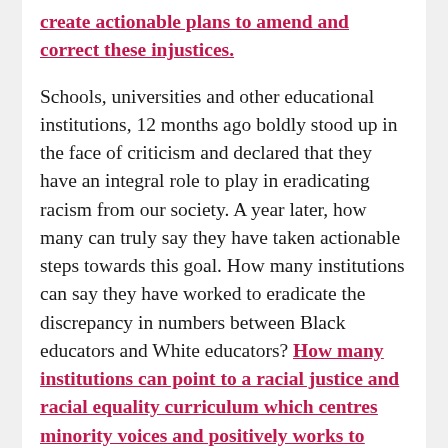create actionable plans to amend and correct these injustices.
Schools, universities and other educational institutions, 12 months ago boldly stood up in the face of criticism and declared that they have an integral role to play in eradicating racism from our society. A year later, how many can truly say they have taken actionable steps towards this goal. How many institutions can say they have worked to eradicate the discrepancy in numbers between Black educators and White educators? How many institutions can point to a racial justice and racial equality curriculum which centres minority voices and positively works to teach of our